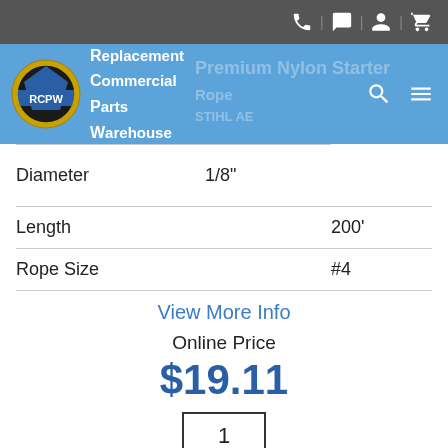[Figure (logo): RCPW logo with gear and banner, with navigation icons for phone, chat, account, and cart in top bar]
| Property | Value |
| --- | --- |
| Diameter | 1/8" |
| Length | 200' |
| Rope Size | #4 |
View More Info
Online Price
$19.11
1
Add To Cart
Warning Cancer and Reproductive Harm www.P65Warnings.ca.gov